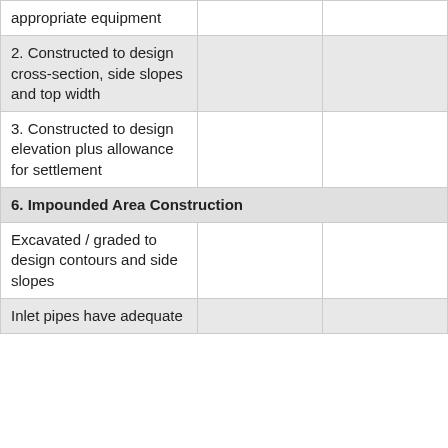| appropriate equipment |  |  |
| 2. Constructed to design cross-section, side slopes and top width |  |  |
| 3. Constructed to design elevation plus allowance for settlement |  |  |
| 6. Impounded Area Construction |  |  |
| Excavated / graded to design contours and side slopes |  |  |
| Inlet pipes have adequate |  |  |